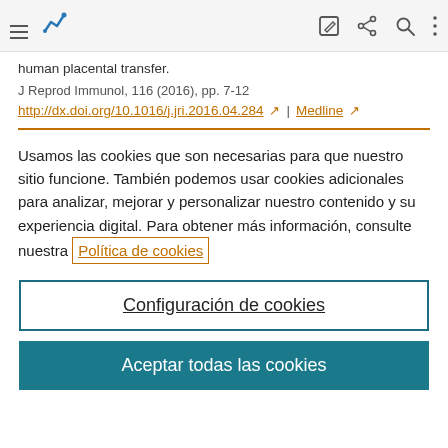[Figure (screenshot): Top navigation bar with hamburger menu icon, chart/analytics icon in blue, and right-side icons for edit, share, search, and more]
human placental transfer.
J Reprod Immunol, 116 (2016), pp. 7-12
http://dx.doi.org/10.1016/j.jri.2016.04.284 ↗ | Medline ↗
Usamos las cookies que son necesarias para que nuestro sitio funcione. También podemos usar cookies adicionales para analizar, mejorar y personalizar nuestro contenido y su experiencia digital. Para obtener más información, consulte nuestra Política de cookies
Configuración de cookies
Aceptar todas las cookies